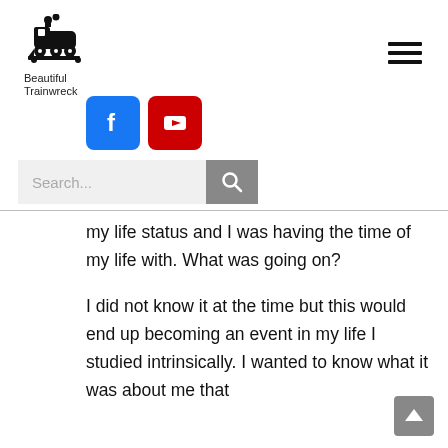[Figure (logo): Steam train locomotive icon in black, above text 'Beautiful Trainwreck']
[Figure (other): Hamburger menu icon (three horizontal lines)]
[Figure (other): Social media icons: Facebook (blue) and YouTube (red)]
[Figure (other): Search bar with placeholder 'Search...' and grey search button]
my life status and I was having the time of my life with. What was going on?
I did not know it at the time but this would end up becoming an event in my life I studied intrinsically. I wanted to know what it was about me that